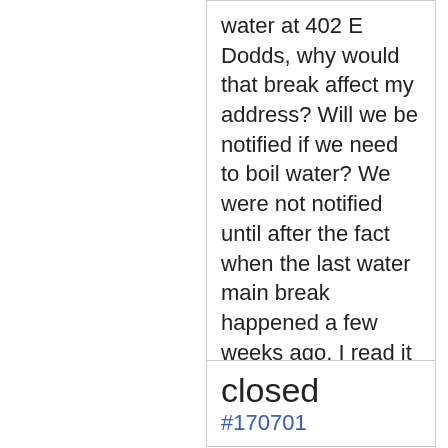water at 402 E Dodds, why would that break affect my address? Will we be notified if we need to boil water? We were not notified until after the fact when the last water main break happened a few weeks ago. I read it in the paper.
closed #170701